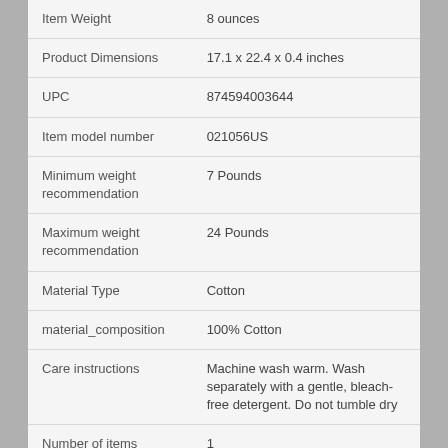| Attribute | Value |
| --- | --- |
| Item Weight | 8 ounces |
| Product Dimensions | 17.1 x 22.4 x 0.4 inches |
| UPC | 874594003644 |
| Item model number | 021056US |
| Minimum weight recommendation | 7 Pounds |
| Maximum weight recommendation | 24 Pounds |
| Material Type | Cotton |
| material_composition | 100% Cotton |
| Care instructions | Machine wash warm. Wash separately with a gentle, bleach-free detergent. Do not tumble dry |
| Number of items | 1 |
| Style | Cotton |